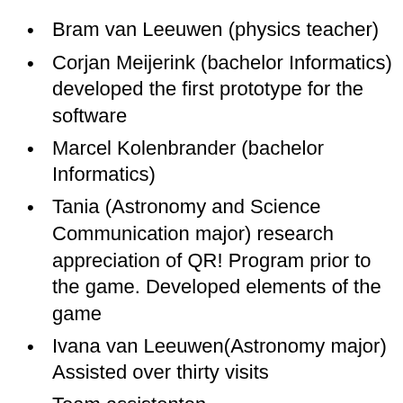Bram van Leeuwen (physics teacher)
Corjan Meijerink (bachelor Informatics) developed the first prototype for the software
Marcel Kolenbrander (bachelor Informatics)
Tania (Astronomy and Science Communication major) research appreciation of QR! Program prior to the game. Developed elements of the game
Ivana van Leeuwen(Astronomy major) Assisted over thirty visits
Team assistenten
Talloze studenten (bachelor project presentaties)